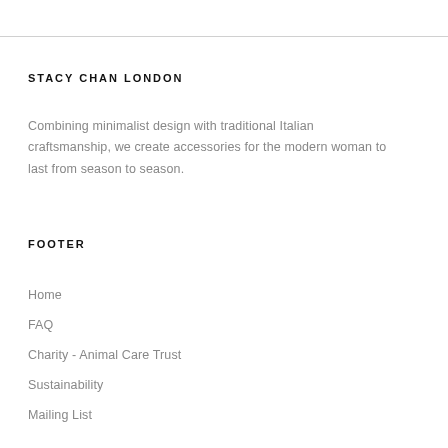STACY CHAN LONDON
Combining minimalist design with traditional Italian craftsmanship, we create accessories for the modern woman to last from season to season.
FOOTER
Home
FAQ
Charity - Animal Care Trust
Sustainability
Mailing List